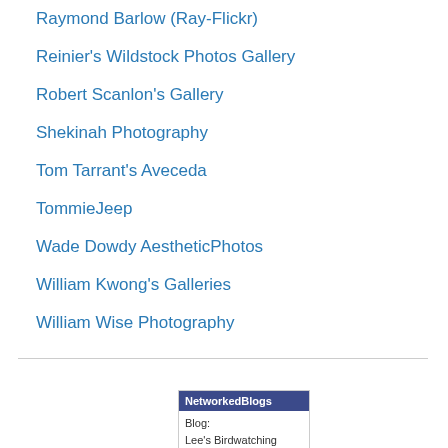Raymond Barlow (Ray-Flickr)
Reinier's Wildstock Photos Gallery
Robert Scanlon's Gallery
Shekinah Photography
Tom Tarrant's Aveceda
TommieJeep
Wade Dowdy AestheticPhotos
William Kwong's Galleries
William Wise Photography
[Figure (other): NetworkedBlogs widget showing Blog: Lee's Birdwatching]
Blog:
Lee's Birdwatching